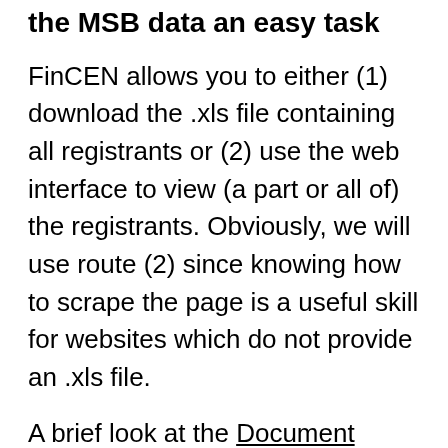the MSB data an easy task
FinCEN allows you to either (1) download the .xls file containing all registrants or (2) use the web interface to view (a part or all of) the registrants. Obviously, we will use route (2) since knowing how to scrape the page is a useful skill for websites which do not provide an .xls file.
A brief look at the Document Object Model of the webpage reveals a pretty straightforward HTML structure with an embedded table. Python, together with the BeautifulSoup and Pandas libraries, makes extracting the MSB